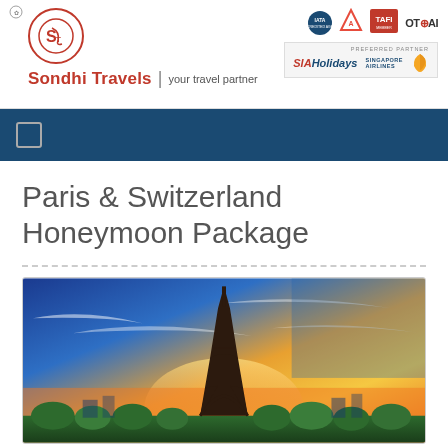Sondhi Travels | your travel partner
Paris & Switzerland Honeymoon Package
[Figure (photo): Eiffel Tower at sunset with colorful sky — orange, blue, and yellow gradient sky with dramatic clouds, lush green trees at base]